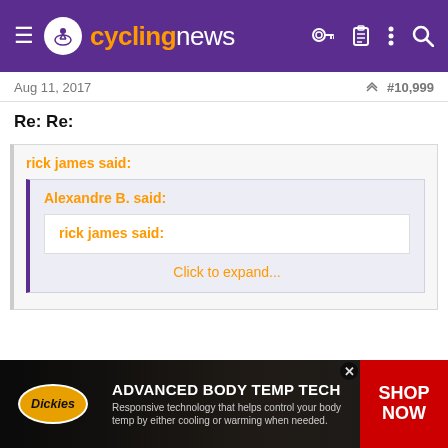cyclingnews
Aug 11, 2017   #10,999
Re: Re:
rick james said:
Alexandre B. said:
rick james said:
Click to expand...
[Figure (other): Dickies advertisement banner: ADVANCED BODY TEMP TECH - Responsive technology that helps control your body temp by either cooling or warming when needed. SHOP NOW]